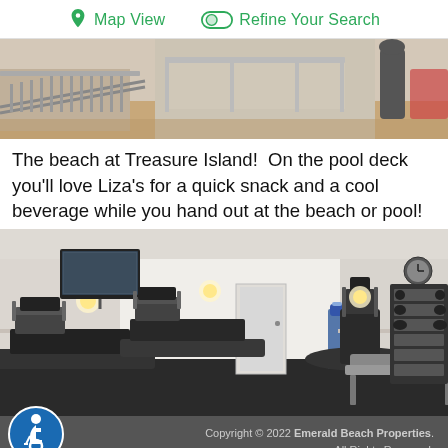Map View   Refine Your Search
[Figure (photo): Interior staircase railing and gym equipment area at Treasure Island property]
The beach at Treasure Island!  On the pool deck you'll love Liza's for a quick snack and a cool beverage while you hand out at the beach or pool!
[Figure (photo): Fitness center / gym room with treadmills, elliptical machines, weight bench, dumbbell rack, and mounted TV]
Copyright © 2022 Emerald Beach Properties. All Rights Reserved.